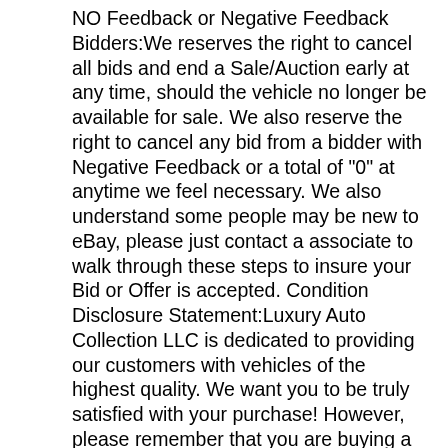NO Feedback or Negative Feedback Bidders:We reserves the right to cancel all bids and end a Sale/Auction early at any time, should the vehicle no longer be available for sale. We also reserve the right to cancel any bid from a bidder with Negative Feedback or a total of "0" at anytime we feel necessary. We also understand some people may be new to eBay, please just contact a associate to walk through these steps to insure your Bid or Offer is accepted. Condition Disclosure Statement:Luxury Auto Collection LLC is dedicated to providing our customers with vehicles of the highest quality. We want you to be truly satisfied with your purchase! However, please remember that you are buying a used vehicle, there will always be some wear and tear associated with a used vehicle. We try to provide full disclosure in regard to any known defects or problems that may be associated with any vehicle you purchase, we will at times miss some. Please make sure you do a "walk around" of the car, with one of our staff members, so you can ask about anything that might concern you. Also, remember that you may have to spend additional money on your vehicle to bring it up to your particular standards. We Cannot guarantee extra keys, floor mats, owner's manuals, jacks, navigation discs and various other movable items. If you can not